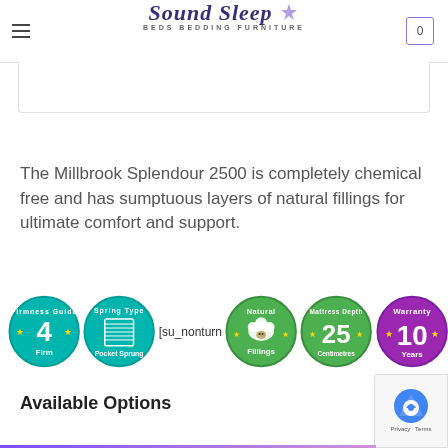Sound Sleep — BEDS BEDDING FURNITURE
The Millbrook Splendour 2500 is completely chemical free and has sumptuous layers of natural fillings for ultimate comfort and support.
[Figure (infographic): Five circular badges: Firmness Guide 4 Firm (teal), Spring Type Pocket Sprung (teal), [su_nonturn...] shortcode text, Natural Fillings with sheep icon (green), Mattress Depth 25 Centimetres (green), Warranty 10 Years (purple)]
Available Options